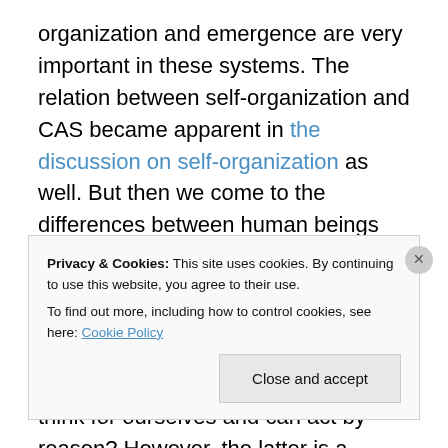organization and emergence are very important in these systems. The relation between self-organization and CAS became apparent in the discussion on self-organization as well. But then we come to the differences between human beings with a mind of their own, and other players like ants or cells. Can self-organization occur in an organization where people are involved? Or is it just not possible because we can think for ourselves and can act by reason? However, the latter is a philosophical discussion. Do we act by reason or by drifts for power? The philosophers Immanuel Kant and Friedrich Nietzsche
Privacy & Cookies: This site uses cookies. By continuing to use this website, you agree to their use. To find out more, including how to control cookies, see here: Cookie Policy